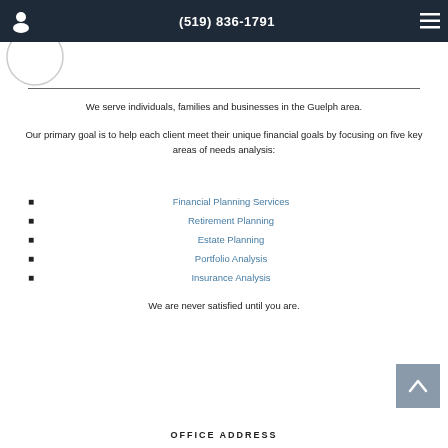(519) 836-1791
We serve individuals, families and businesses in the Guelph area.
Our primary goal is to help each client meet their unique financial goals by focusing on five key areas of needs analysis:
Financial Planning Services
Retirement Planning
Estate Planning
Portfolio Analysis
Insurance Analysis
We are never satisfied until you are.
OFFICE ADDRESS